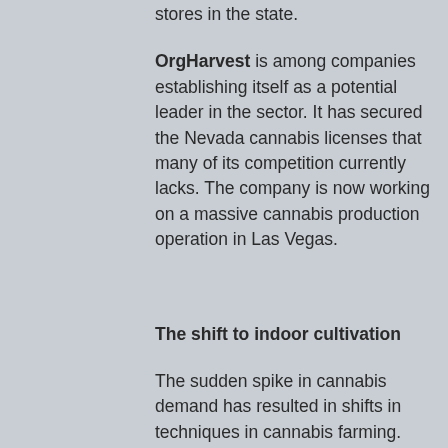stores in the state.
OrgHarvest is among companies establishing itself as a potential leader in the sector. It has secured the Nevada cannabis licenses that many of its competition currently lacks. The company is now working on a massive cannabis production operation in Las Vegas.
The shift to indoor cultivation
The sudden spike in cannabis demand has resulted in shifts in techniques in cannabis farming.